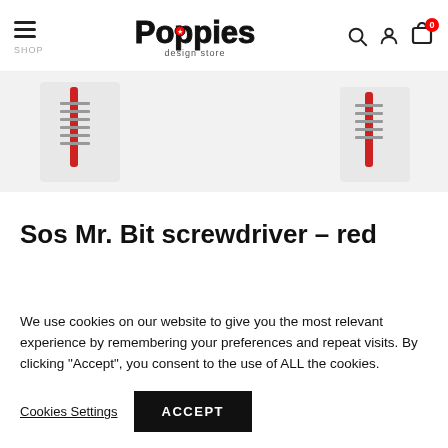Poppies design store — SHOP
[Figure (photo): Product images of red screwdriver set (Sos Mr. Bit) partially visible]
Sos Mr. Bit screwdriver – red
Multi screwdriver set with 8 heads
We use cookies on our website to give you the most relevant experience by remembering your preferences and repeat visits. By clicking "Accept", you consent to the use of ALL the cookies.
Cookies Settings | ACCEPT